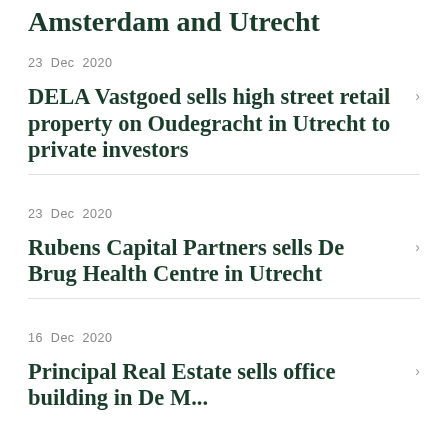Amsterdam and Utrecht
23  Dec  2020
DELA Vastgoed sells high street retail property on Oudegracht in Utrecht to private investors
23  Dec  2020
Rubens Capital Partners sells De Brug Health Centre in Utrecht
16  Dec  2020
Principal Real Estate sells office building in De M...